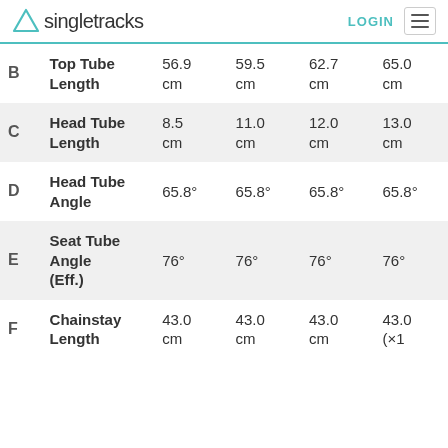Singletracks   LOGIN
| Key | Measurement | Size 1 | Size 2 | Size 3 | Size 4 |
| --- | --- | --- | --- | --- | --- |
| B | Top Tube Length | 56.9 cm | 59.5 cm | 62.7 cm | 65.0 cm |
| C | Head Tube Length | 8.5 cm | 11.0 cm | 12.0 cm | 13.0 cm |
| D | Head Tube Angle | 65.8° | 65.8° | 65.8° | 65.8° |
| E | Seat Tube Angle (Eff.) | 76° | 76° | 76° | 76° |
| F | Chainstay Length | 43.0 cm | 43.0 cm | 43.0 cm | 43.0 (×1 |